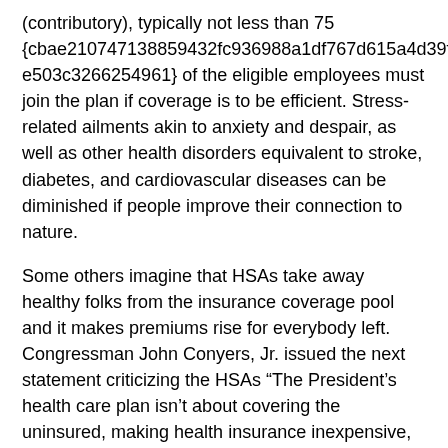(contributory), typically not less than 75 {cbae210747138594 32fc936988a1df767d615a4d39f985b4de503c3266254961} of the eligible employees must join the plan if coverage is to be efficient. Stress-related ailments akin to anxiety and despair, as well as other health disorders equivalent to stroke, diabetes, and cardiovascular diseases can be diminished if people improve their connection to nature.
Some others imagine that HSAs take away healthy folks from the insurance coverage pool and it makes premiums rise for everybody left. Congressman John Conyers, Jr. issued the next statement criticizing the HSAs “The President’s health care plan isn’t about covering the uninsured, making health insurance inexpensive, or even driving down the price of health care.
The excessive deductibles will encourage individuals to be extra careful about their health and health care expenses and